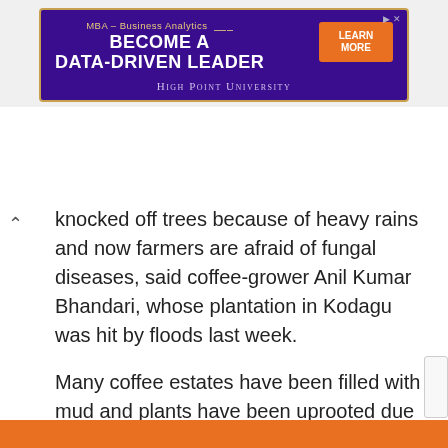[Figure (other): Advertisement banner for High Point University MBA – Business Analytics program. Purple background with gold border. Text: 'MBA – Business Analytics', 'BECOME A DATA-DRIVEN LEADER', orange 'LEARN MORE' button, 'HIGH POINT UNIVERSITY' in serif small-caps.]
arge number of coffee berries were knocked off trees because of heavy rains and now farmers are afraid of fungal diseases, said coffee-grower Anil Kumar Bhandari, whose plantation in Kodagu was hit by floods last week.
Many coffee estates have been filled with mud and plants have been uprooted due to landslides, said Bhandari, adding “Coffee plantations need to reconstruct. It will take years.”